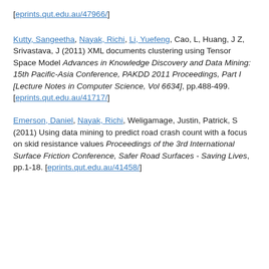[eprints.qut.edu.au/47966/]
Kutty, Sangeetha, Nayak, Richi, Li, Yuefeng, Cao, L, Huang, J Z, Srivastava, J (2011) XML documents clustering using Tensor Space Model Advances in Knowledge Discovery and Data Mining: 15th Pacific-Asia Conference, PAKDD 2011 Proceedings, Part I [Lecture Notes in Computer Science, Vol 6634], pp.488-499. [eprints.qut.edu.au/41717/]
Emerson, Daniel, Nayak, Richi, Weligamage, Justin, Patrick, S (2011) Using data mining to predict road crash count with a focus on skid resistance values Proceedings of the 3rd International Surface Friction Conference, Safer Road Surfaces - Saving Lives, pp.1-18. [eprints.qut.edu.au/41458/]